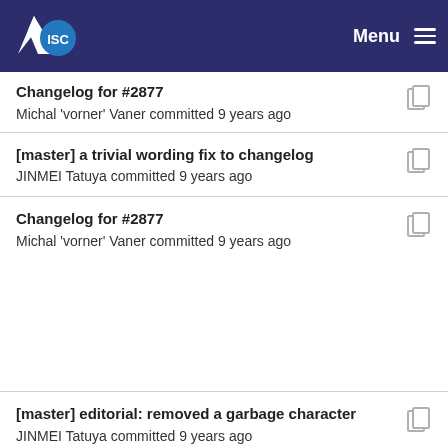ISC | Menu
Changelog for #2877
Michal 'vorner' Vaner committed 9 years ago
[master] a trivial wording fix to changelog
JINMEI Tatuya committed 9 years ago
Changelog for #2877
Michal 'vorner' Vaner committed 9 years ago
[master] editorial: removed a garbage character
JINMEI Tatuya committed 9 years ago
[master] Added ChangeLog entry 600.
Thomas Markwalder committed 9 years ago